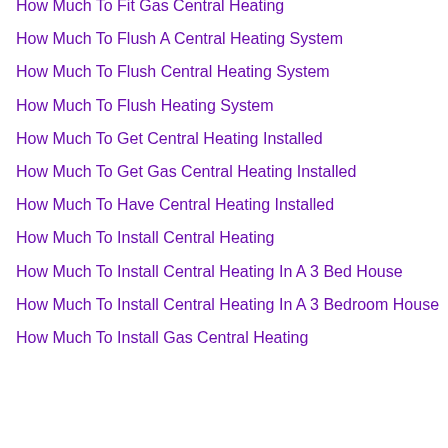How Much To Fit Gas Central Heating
How Much To Flush A Central Heating System
How Much To Flush Central Heating System
How Much To Flush Heating System
How Much To Get Central Heating Installed
How Much To Get Gas Central Heating Installed
How Much To Have Central Heating Installed
How Much To Install Central Heating
How Much To Install Central Heating In A 3 Bed House
How Much To Install Central Heating In A 3 Bedroom House
How Much To Install Gas Central Heating